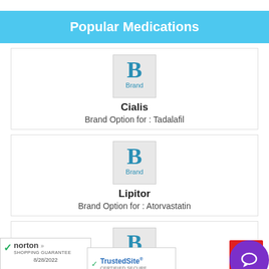Popular Medications
[Figure (logo): Brand badge with large B letter for Cialis]
Cialis
Brand Option for : Tadalafil
[Figure (logo): Brand badge with large B letter for Lipitor]
Lipitor
Brand Option for : Atorvastatin
[Figure (logo): Brand badge with large B letter for Motilium]
Motilium
Brand Option for : Domperidone
norton SHOPPING GUARANTEE 8/28/2022 | TrustedSite CERTIFIED SECURE